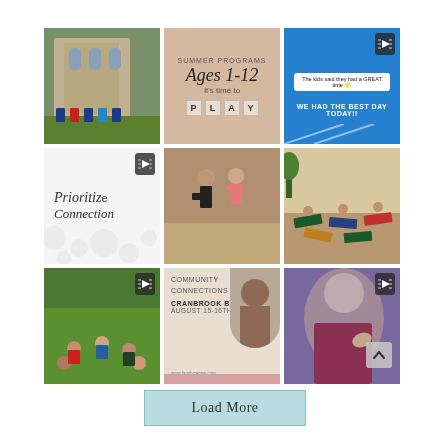[Figure (photo): Grid of 9 social media images showing children and community activities. Row 1: church/stroller photo, summer programs Ages 1-12 play graphic, blue video post. Row 2: 'Prioritize Connection' text graphic with video badge, children dancing photo, yoga class photo. Row 3: children on grass video, Community Connections Cranbrook BC event graphic, close-up person video with scroll badge.]
Load More